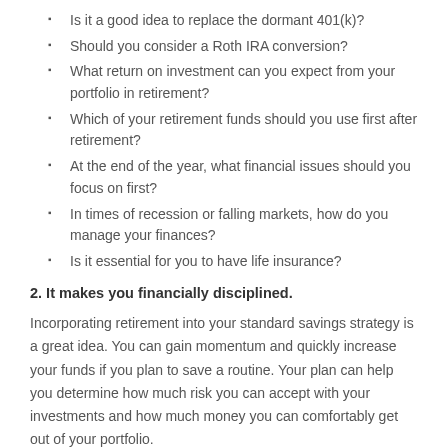Is it a good idea to replace the dormant 401(k)?
Should you consider a Roth IRA conversion?
What return on investment can you expect from your portfolio in retirement?
Which of your retirement funds should you use first after retirement?
At the end of the year, what financial issues should you focus on first?
In times of recession or falling markets, how do you manage your finances?
Is it essential for you to have life insurance?
2. It makes you financially disciplined.
Incorporating retirement into your standard savings strategy is a great idea. You can gain momentum and quickly increase your funds if you plan to save a routine. Your plan can help you determine how much risk you can accept with your investments and how much money you can comfortably get out of your portfolio.